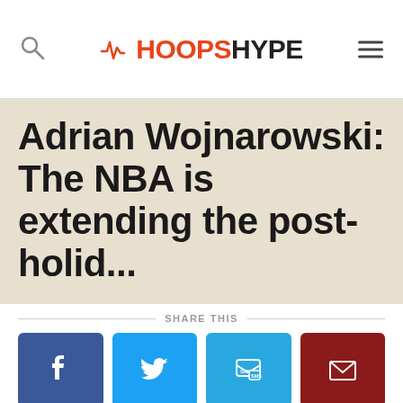HOOPSHYPE
Adrian Wojnarowski: The NBA is extending the post-holid...
SHARE THIS
[Figure (infographic): Social sharing buttons: Facebook, Twitter, SMS, Email]
8 months ago – via Twitter wojespn
Adrian Wojnarowski: The NBA is extending the post-holiday Covid testing plan an additional week because of the ongoing case surge, sources tell ESPN. Also: Players eligible for buyouts to next level will be available...